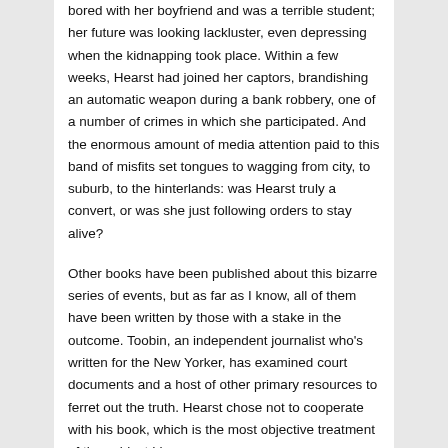bored with her boyfriend and was a terrible student; her future was looking lackluster, even depressing when the kidnapping took place. Within a few weeks, Hearst had joined her captors, brandishing an automatic weapon during a bank robbery, one of a number of crimes in which she participated. And the enormous amount of media attention paid to this band of misfits set tongues to wagging from city, to suburb, to the hinterlands: was Hearst truly a convert, or was she just following orders to stay alive?
Other books have been published about this bizarre series of events, but as far as I know, all of them have been written by those with a stake in the outcome. Toobin, an independent journalist who's written for the New Yorker, has examined court documents and a host of other primary resources to ferret out the truth. Hearst chose not to cooperate with his book, which is the most objective treatment of the subject I have seen.
Most of the book chronicles events that are too strange to be fictional, and there is tragedy as well. But my favorite